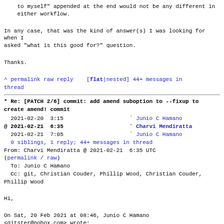to myself" appended at the end would not be any different in
    either workflow.
In any case, that was the kind of answer(s) I was looking for when I
asked "what is this good for?" question.
Thanks.
^ permalink raw reply    [flat|nested] 44+ messages in thread
* Re: [PATCH 2/6] commit: add amend suboption to --fixup to create amend! commit
2021-02-20  3:15                    ` Junio C Hamano
@ 2021-02-21  6:35                    ` Charvi Mendiratta
  2021-02-21  7:05                    ` Junio C Hamano
  0 siblings, 1 reply; 44+ messages in thread
From: Charvi Mendiratta @ 2021-02-21  6:35 UTC
(permalink / raw)
  To: Junio C Hamano
  Cc: git, Christian Couder, Phillip Wood, Christian Couder, Phillip Wood
Hi,
On Sat, 20 Feb 2021 at 08:46, Junio C Hamano
<gitster@pobox.com> wrote: